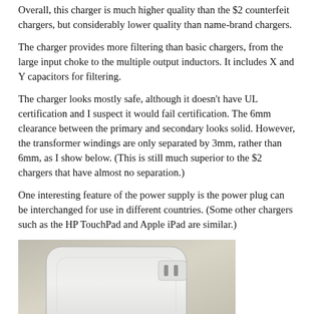Overall, this charger is much higher quality than the $2 counterfeit chargers, but considerably lower quality than name-brand chargers.
The charger provides more filtering than basic chargers, from the large input choke to the multiple output inductors. It includes X and Y capacitors for filtering.
The charger looks mostly safe, although it doesn't have UL certification and I suspect it would fail certification. The 6mm clearance between the primary and secondary looks solid. However, the transformer windings are only separated by 3mm, rather than 6mm, as I show below. (This is still much superior to the $2 chargers that have almost no separation.)
One interesting feature of the power supply is the power plug can be interchanged for use in different countries. (Some other chargers such as the HP TouchPad and Apple iPad are similar.)
[Figure (photo): Photo of a white charger/power supply device on a beige background, showing its flat rectangular form factor with rounded corners and interchangeable plug design.]